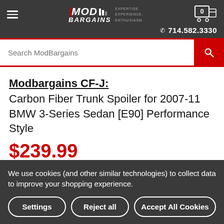MOD BARGAINS — EXPERTISE. EXPERIENCE. ENTHUSIASM. — 714.582.3330
Search ModBargains
Modbargains CF-J: Carbon Fiber Trunk Spoiler for 2007-11 BMW 3-Series Sedan [E90] Performance Style
$239.99
We use cookies (and other similar technologies) to collect data to improve your shopping experience.
Settings | Reject all | Accept All Cookies